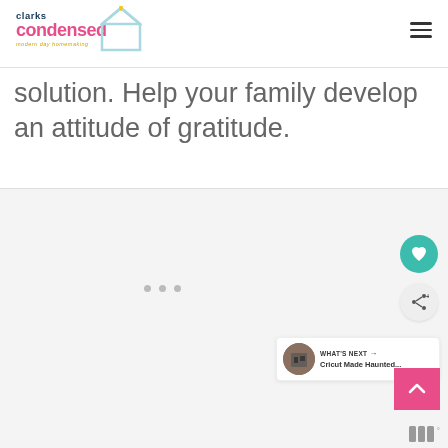clarks condensed - modern day homemaking
solution. Help your family develop an attitude of gratitude.
[Figure (screenshot): Embedded content / advertisement area with slider dots, heart favorite button, share button, and a 'What's Next' widget showing 'Cricut Made Haunted...' article thumbnail, along with a pink scroll-to-top button and a bar-chart watermark icon at bottom.]